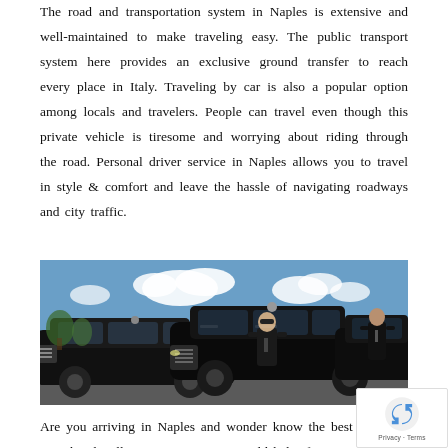The road and transportation system in Naples is extensive and well-maintained to make traveling easy. The public transport system here provides an exclusive ground transfer to reach every place in Italy. Traveling by car is also a popular option among locals and travelers. People can travel even though this private vehicle is tiresome and worrying about riding through the road. Personal driver service in Naples allows you to travel in style & comfort and leave the hassle of navigating roadways and city traffic.
[Figure (photo): Two men in black suits and sunglasses standing in front of black luxury Mercedes-Benz sedans, outdoors with a blue sky and clouds in the background.]
Are you arriving in Naples and wonder know the best to get to your hotel, villa, or apartment? It would help if you